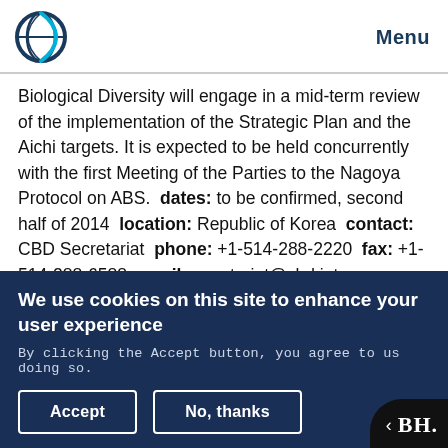Menu
Biological Diversity will engage in a mid-term review of the implementation of the Strategic Plan and the Aichi targets. It is expected to be held concurrently with the first Meeting of the Parties to the Nagoya Protocol on ABS. dates: to be confirmed, second half of 2014 location: Republic of Korea contact: CBD Secretariat phone: +1-514-288-2220 fax: +1-514-288-6588 email: secretariat@cbd.int www: http://www.cbd.int
We use cookies on this site to enhance your user experience
By clicking the Accept button, you agree to us doing so.